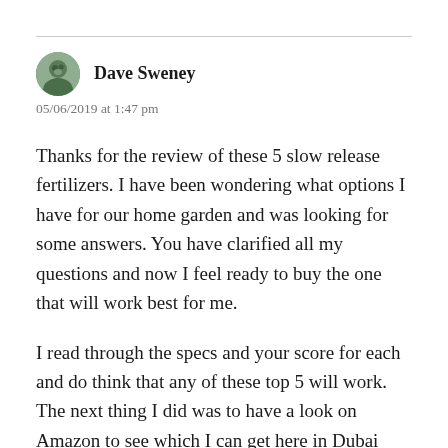Dave Sweney
05/06/2019 at 1:47 pm
Thanks for the review of these 5 slow release fertilizers. I have been wondering what options I have for our home garden and was looking for some answers. You have clarified all my questions and now I feel ready to buy the one that will work best for me.
I read through the specs and your score for each and do think that any of these top 5 will work. The next thing I did was to have a look on Amazon to see which I can get here in Dubai